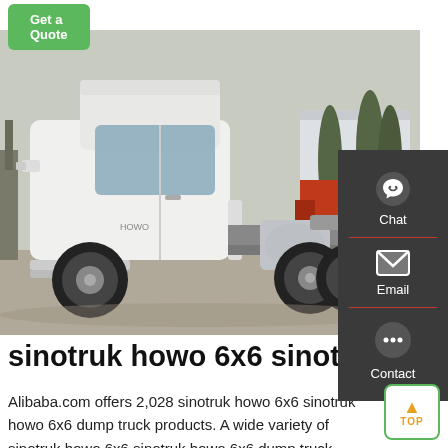[Figure (screenshot): Green 'Get a Quote' button at top left of page]
[Figure (photo): Photo of a white Sinotruk HOWO 6x6 truck (semi-truck/tractor head) parked outdoors, with an orange truck visible in background and trees.]
sinotruk howo 6x6 sinotruk...
Alibaba.com offers 2,028 sinotruk howo 6x6 sinotruk howo 6x6 dump truck products. A wide variety of sinotruk howo 6x6 sinotruk howo 6x6 dump truck...